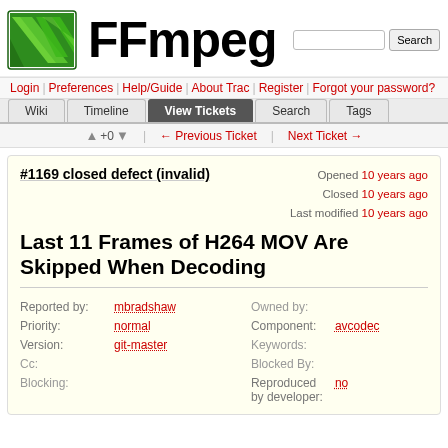[Figure (logo): FFmpeg green logo with stylized diagonal stripes]
FFmpeg
Login | Preferences | Help/Guide | About Trac | Register | Forgot your password?
Wiki | Timeline | View Tickets | Search | Tags
↑ +0 ↓ ← Previous Ticket | Next Ticket →
#1169 closed defect (invalid)
Opened 10 years ago
Closed 10 years ago
Last modified 10 years ago
Last 11 Frames of H264 MOV Are Skipped When Decoding
| Field | Value | Field | Value |
| --- | --- | --- | --- |
| Reported by: | mbradshaw | Owned by: |  |
| Priority: | normal | Component: | avcodec |
| Version: | git-master | Keywords: |  |
| Cc: |  | Blocked By: |  |
| Blocking: |  | Reproduced by developer: | no |